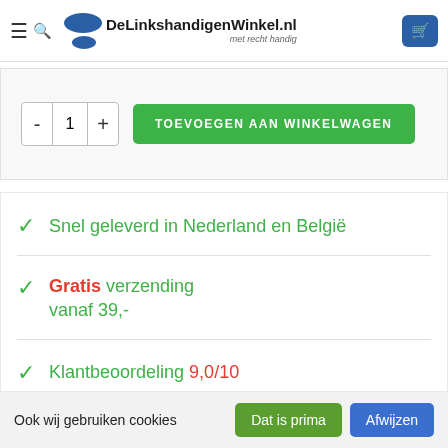DeLinkshandigenWinkel.nl — met recht handig
[Figure (screenshot): Add to cart control with quantity selector (- 1 +) and green button 'TOEVOEGEN AAN WINKELWAGEN']
Snel geleverd in Nederland en België
Gratis verzending vanaf 39,-
Klantbeoordeling 9,0/10
Ook wij gebruiken cookies  Dat is prima  Afwijzen